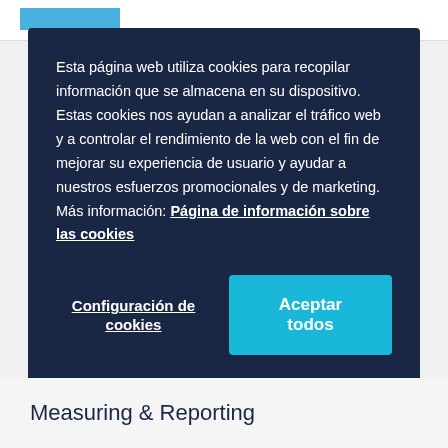Esta página web utiliza cookies para recopilar información que se almacena en su dispositivo. Estas cookies nos ayudan a analizar el tráfico web y a controlar el rendimiento de la web con el fin de mejorar su experiencia de usuario y ayudar a nuestros esfuerzos promocionales y de marketing. Más información: Página de información sobre las cookies
Configuración de cookies
Aceptar todos
Measuring & Reporting